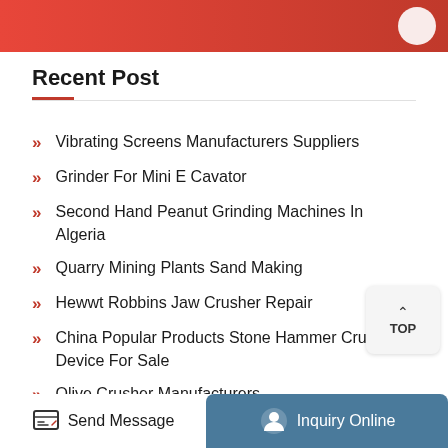Recent Post
Vibrating Screens Manufacturers Suppliers
Grinder For Mini E Cavator
Second Hand Peanut Grinding Machines In Algeria
Quarry Mining Plants Sand Making
Hewwt Robbins Jaw Crusher Repair
China Popular Products Stone Hammer Crusher Device For Sale
Olive Crusher Manufacturers
Send Message   Inquiry Online